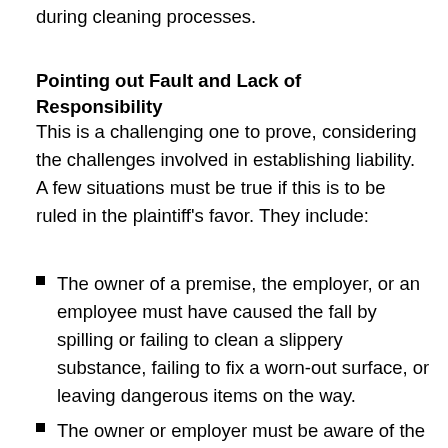during cleaning processes.
Pointing out Fault and Lack of Responsibility
This is a challenging one to prove, considering the challenges involved in establishing liability. A few situations must be true if this is to be ruled in the plaintiff's favor. They include:
The owner of a premise, the employer, or an employee must have caused the fall by spilling or failing to clean a slippery substance, failing to fix a worn-out surface, or leaving dangerous items on the way.
The owner or employer must be aware of the dangerous surface, yet they failed to do something about it